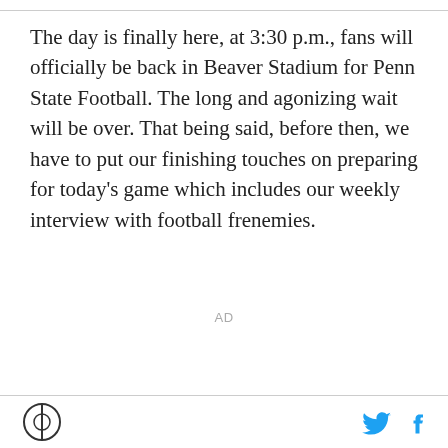The day is finally here, at 3:30 p.m., fans will officially be back in Beaver Stadium for Penn State Football. The long and agonizing wait will be over. That being said, before then, we have to put our finishing touches on preparing for today's game which includes our weekly interview with football frenemies.
AD
[Figure (logo): Vox Media circular logo with a circle and vertical line division]
[Figure (logo): Twitter bird icon in cyan blue]
[Figure (logo): Facebook f icon in cyan blue]